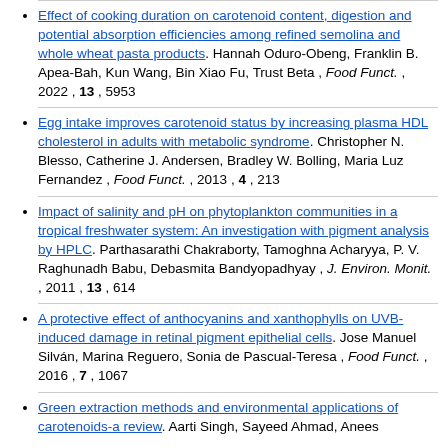Effect of cooking duration on carotenoid content, digestion and potential absorption efficiencies among refined semolina and whole wheat pasta products. Hannah Oduro-Obeng, Franklin B. Apea-Bah, Kun Wang, Bin Xiao Fu, Trust Beta , Food Funct. , 2022 , 13 , 5953
Egg intake improves carotenoid status by increasing plasma HDL cholesterol in adults with metabolic syndrome. Christopher N. Blesso, Catherine J. Andersen, Bradley W. Bolling, Maria Luz Fernandez , Food Funct. , 2013 , 4 , 213
Impact of salinity and pH on phytoplankton communities in a tropical freshwater system: An investigation with pigment analysis by HPLC. Parthasarathi Chakraborty, Tamoghna Acharyya, P. V. Raghunadh Babu, Debasmita Bandyopadhyay , J. Environ. Monit. , 2011 , 13 , 614
A protective effect of anthocyanins and xanthophylls on UVB-induced damage in retinal pigment epithelial cells. Jose Manuel Silván, Marina Reguero, Sonia de Pascual-Teresa , Food Funct. , 2016 , 7 , 1067
Green extraction methods and environmental applications of carotenoids-a review. Aarti Singh, Sayeed Ahmad, Anees